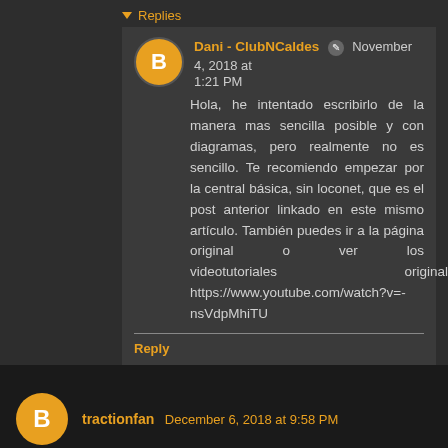Replies
Dani - ClubNCaldes  November 4, 2018 at 1:21 PM
Hola, he intentado escribirlo de la manera mas sencilla posible y con diagramas, pero realmente no es sencillo. Te recomiendo empezar por la central básica, sin loconet, que es el post anterior linkado en este mismo artículo. También puedes ir a la página original o ver los videotutoriales originales: https://www.youtube.com/watch?v=-nsVdpMhiTU
Reply
tractionfan  December 6, 2018 at 9:58 PM
Hi, Dani. I have assembled your DCC++ with Loconet and find it works great except for one thing: I cannot get responses (either from throttle or IDE monitor) for Functions above F4.